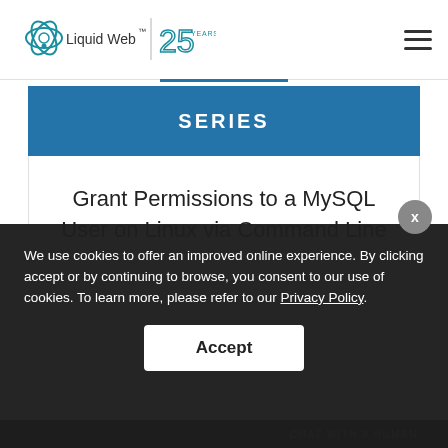[Figure (logo): Liquid Web logo with atom icon and '25 Years' badge in teal/blue]
SERIES
Grant Permissions to a MySQL User on Linux via Command Line
We use cookies to offer an improved online experience. By clicking accept or by continuing to browse, you consent to our use of cookies. To learn more, please refer to our Privacy Policy.
Accept